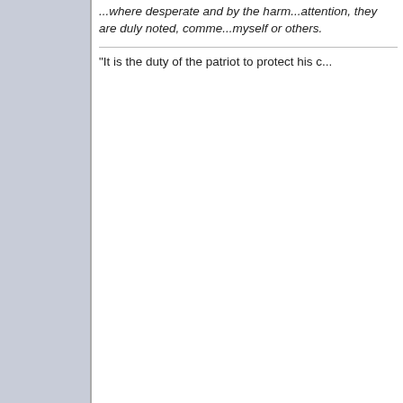...where desperate and by the harm...attention, they are duly noted, comm...myself or others.
"It is the duty of the patriot to protect his c...
Boston Blackie
Guest
Re: Passed the mandatory maintanance exam
Reply #22 - Feb 28th, 2003 at 9:02pm
Seeker wrote on Feb 28th, 2003 at 9:...
Time for a mother of three children to...

I do not always agree with you. This...children are lucky to have you. God B...I agree with 95% ofyour post especia...Bottom line here, it is not up to the...consent (it varies from state to sta...activity with anyone over the age o...person over the age of 18 to not gi...with one under that age.